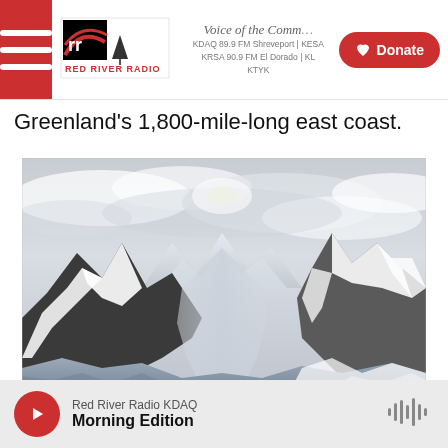Voice of the Community | Red River Radio | KDAQ 89.9 FM Shreveport | KESA | KRSA 90.9 FM El Dorado | KTYK | ♥ Donate
Greenland's 1,800-mile-long east coast.
[Figure (photo): Aerial photograph of Greenland's east coast showing snow-covered mountains, glaciers, and icy fjords under a partly cloudy sky]
/ Kristin Laidre / Kristin Laidre
Red River Radio KDAQ Morning Edition